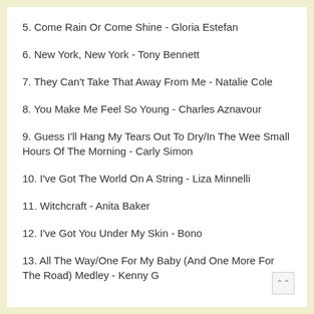5. Come Rain Or Come Shine - Gloria Estefan
6. New York, New York - Tony Bennett
7. They Can't Take That Away From Me - Natalie Cole
8. You Make Me Feel So Young - Charles Aznavour
9. Guess I'll Hang My Tears Out To Dry/In The Wee Small Hours Of The Morning - Carly Simon
10. I've Got The World On A String - Liza Minnelli
11. Witchcraft - Anita Baker
12. I've Got You Under My Skin - Bono
13. All The Way/One For My Baby (And One More For The Road) Medley - Kenny G